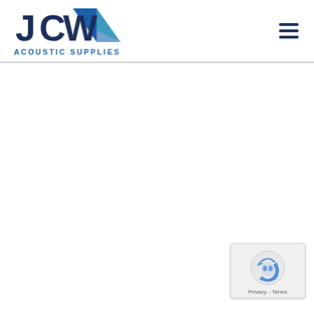JCW Acoustic Supplies
[Figure (logo): JCW Acoustic Supplies logo with blue triangle/arrow graphic and bold JCW lettering, with 'ACOUSTIC SUPPLIES' text below]
[Figure (other): reCAPTCHA badge with Google logo and Privacy/Terms links]